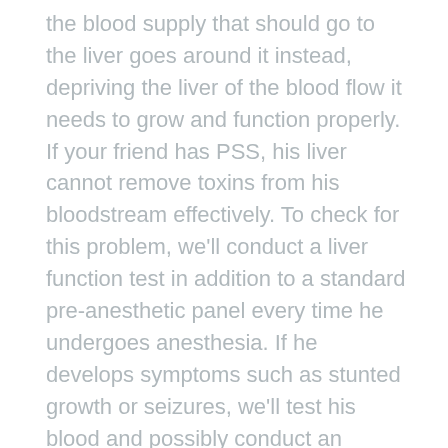the blood supply that should go to the liver goes around it instead, depriving the liver of the blood flow it needs to grow and function properly. If your friend has PSS, his liver cannot remove toxins from his bloodstream effectively. To check for this problem, we'll conduct a liver function test in addition to a standard pre-anesthetic panel every time he undergoes anesthesia. If he develops symptoms such as stunted growth or seizures, we'll test his blood and possibly conduct an ultrasound scan of his liver. Surgery may be needed, but in some cases, we can treat with a special diet and medication.
Bladder or Kidney Stones
There are a few different types of stones that can form in the kidney or in the bladder, and Chihuahuas are more likely to develop them than other breeds. We'll periodically test his urine for telltale signs